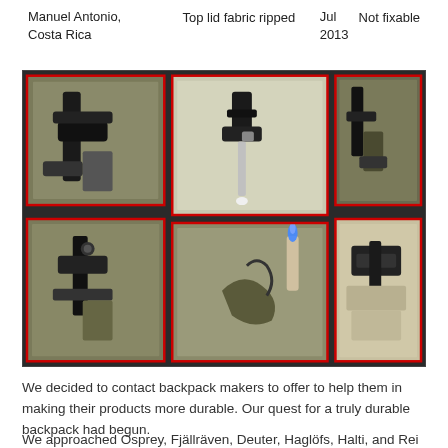Manuel Antonio, Costa Rica
Top lid fabric ripped
Jul 2013
Not fixable
[Figure (photo): Collage of 5 photos showing a ripped backpack top lid fabric and repair attempts with a lighter, all outlined with red borders on a dark background.]
We decided to contact backpack makers to offer to help them in making their products more durable. Our quest for a truly durable backpack had begun.
We approached Osprey, Fjällräven, Deuter, Haglöfs, Halti, and Rei